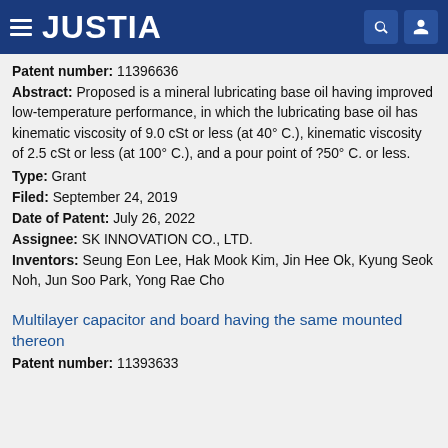JUSTIA
Patent number: 11396636
Abstract: Proposed is a mineral lubricating base oil having improved low-temperature performance, in which the lubricating base oil has kinematic viscosity of 9.0 cSt or less (at 40° C.), kinematic viscosity of 2.5 cSt or less (at 100° C.), and a pour point of ?50° C. or less.
Type: Grant
Filed: September 24, 2019
Date of Patent: July 26, 2022
Assignee: SK INNOVATION CO., LTD.
Inventors: Seung Eon Lee, Hak Mook Kim, Jin Hee Ok, Kyung Seok Noh, Jun Soo Park, Yong Rae Cho
Multilayer capacitor and board having the same mounted thereon
Patent number: 11393633